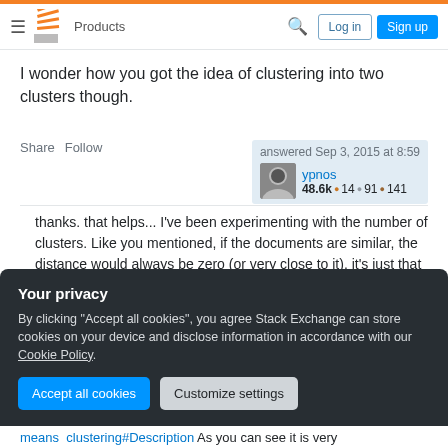Stack Overflow navigation bar with Products, Log in, Sign up
I wonder how you got the idea of clustering into two clusters though.
Share   Follow   answered Sep 3, 2015 at 8:59   ypnos   48.6k • 14 • 91 • 141
thanks. that helps... I've been experimenting with the number of clusters. Like you mentioned, if the documents are similar, the distance would always be zero (or very close to it). it's just that i need to know
Your privacy
By clicking "Accept all cookies", you agree Stack Exchange can store cookies on your device and disclose information in accordance with our Cookie Policy.
Accept all cookies   Customize settings
means  clustering#Description  As you can see it is very